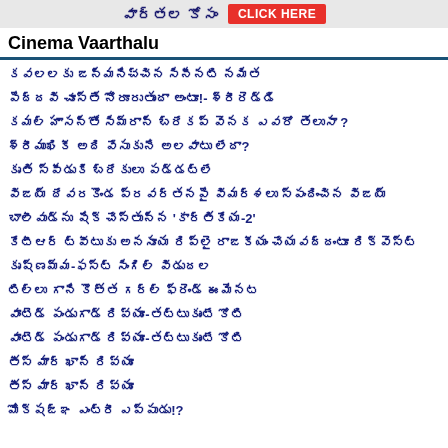వార్తల కోసం CLICK HERE
Cinema Vaarthalu
కవలలకు జన్మనిచ్చిన సినీనటి నమిత
పెద్దవి చూస్తే నోరూరుతుందా అంటూ!- శ్రీరెడ్డి
కమల్ హాసన్‌తో సిమ్రాన్ బ్రేకప్ వెనక ఎవరో తెలుసా ?
శ్రీముఖికీ అది వేసుకునే అలవాటు లేదా?
కృతి స్పీడుకి బ్రేకులు పడ్డట్లే
విజయ్ దేవరకొండ ప్రవర్తనపై విమర్శలు స్పందించిన విజయ్
బాలీవుడ్‌ను షేక్ చేస్తున్న 'కార్తికేయ-2'
కేటీఆర్ ట్వీటుకు అనసూయ రిప్లై రాజకీయం చేయవద్దంటూ రిక్వెస్ట్
కృష్ణమ్మ-ఫస్ట్ సింగిల్ విడుదల
టిల్లు గాని కొత్త గర్ల్ ఫ్రెండ్ ఈమెనట
వాంటెడ్ పండుగాడ్ రివ్యూ-తట్టుకుంటే కోటి
వాంటెడ్ పండుగాడ్ రివ్యూ-తట్టుకుంటే కోటి
తీస్ మార్ ఖాన్ రివ్యూ
తీస్ మార్ ఖాన్ రివ్యూ
మోక్షజ్ఞ ఎంట్రీ ఎప్పుడు!?